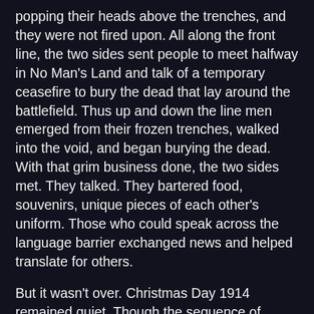popping their heads above the trenches, and they were not fired upon. All along the front line, the two sides sent people to meet halfway in No Man's Land and talk of a temporary ceasefire to bury the dead that lay around the battlefield. Thus up and down the line men emerged from their frozen trenches, walked into the void, and began burying the dead. With that grim business done, the two sides met. They talked. They bartered food, souvenirs, unique pieces of each other's uniform. Those who could speak across the language barrier exchanged news and helped translate for others.
But it wasn't over. Christmas Day 1914 remained quiet. Though the sequence of events varied along the front, both sides continued the ceasefire on the 25th in the spirit of the season. Soldiers on both sides enjoyed the respite from the violence, caroling continued, and once